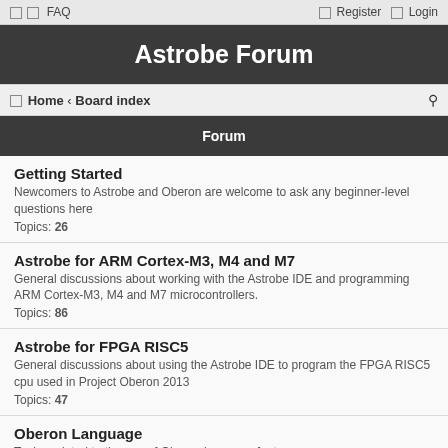□ □ FAQ   Register Login
Astrobe Forum
□ Home ‹ Board index
Forum
Getting Started
Newcomers to Astrobe and Oberon are welcome to ask any beginner-level questions here
Topics: 26
Astrobe for ARM Cortex-M3, M4 and M7
General discussions about working with the Astrobe IDE and programming ARM Cortex-M3, M4 and M7 microcontrollers.
Topics: 86
Astrobe for FPGA RISC5
General discussions about using the Astrobe IDE to program the FPGA RISC5 cpu used in Project Oberon 2013
Topics: 47
Oberon Language
Topics related to the use of Oberon language features
Topics: 46
CPIde and Component Pascal
General discussions about working with the Component Pascal IDE and programming .NET using Gardens Point Component Pascal (GPCP)